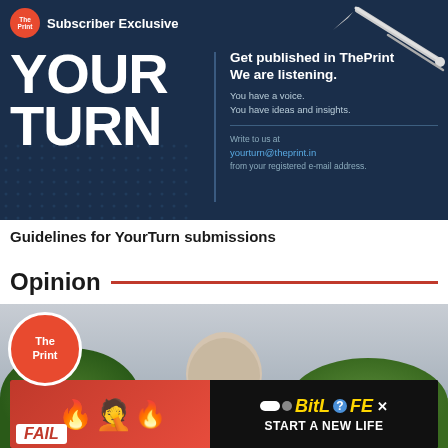[Figure (infographic): ThePrint 'YOUR TURN' subscriber exclusive banner. Dark navy background with large white bold text 'YOUR TURN' on left, right side says 'Get published in ThePrint We are listening. You have a voice. You have ideas and insights. Write to us at yourturn@theprint.in from your registered e-mail address.' ThePrint orange circular logo top-left. Pen/pencil illustration top-right.]
Guidelines for YourTurn submissions
Opinion
[Figure (photo): Photo of Supreme Court of India building with dome visible, trees on sides, grey sky. ThePrint orange circular logo overlay bottom-left. Advertisement overlay at bottom: FAIL graphic with cartoon woman, flames, BitLife logo and 'START A NEW LIFE' text.]